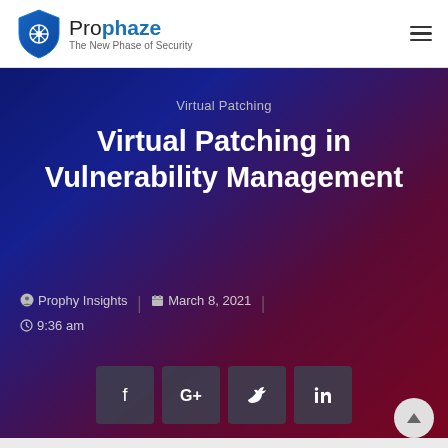[Figure (logo): Prophaze logo with shield icon and tagline 'The New Phase of Security']
Virtual Patching
Virtual Patching in Vulnerability Management
Prophy Insights | March 8, 2021 | 9:36 am
[Figure (infographic): Social share buttons: Facebook, Google+, Twitter, LinkedIn]